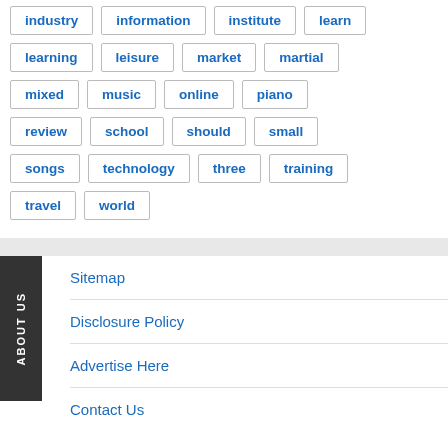industry
information
institute
learn
learning
leisure
market
martial
mixed
music
online
piano
review
school
should
small
songs
technology
three
training
travel
world
Sitemap
Disclosure Policy
Advertise Here
Contact Us